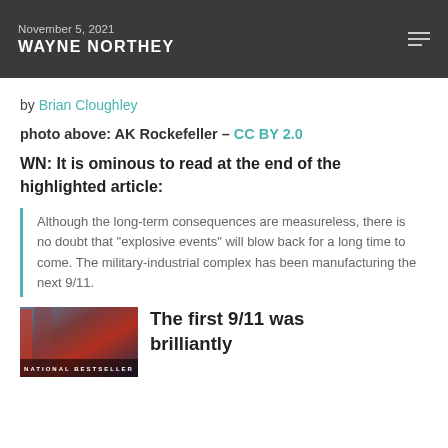November 5, 2021 WAYNE NORTHEY
by Brian Cloughley
photo above: AK Rockefeller – CC BY 2.0
WN: It is ominous to read at the end of the highlighted article:
Although the long-term consequences are measureless, there is no doubt that "explosive events" will blow back for a long time to come. The military-industrial complex has been manufacturing the next 9/11.
[Figure (photo): Book cover showing 'National Bestseller' text on a dark background]
The first 9/11 was brilliantly